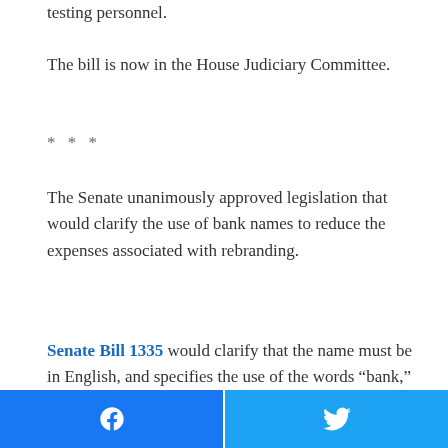testing personnel.
The bill is now in the House Judiciary Committee.
* * *
The Senate unanimously approved legislation that would clarify the use of bank names to reduce the expenses associated with rebranding.
Senate Bill 1335 would clarify that the name must be in English, and specifies the use of the words “bank,” “banking,” “savings” and “trust.”
The bill also forbids deception in the bank name, and certain specific words such as “federal” and
[Figure (other): Facebook and Twitter share buttons at the bottom of the page]